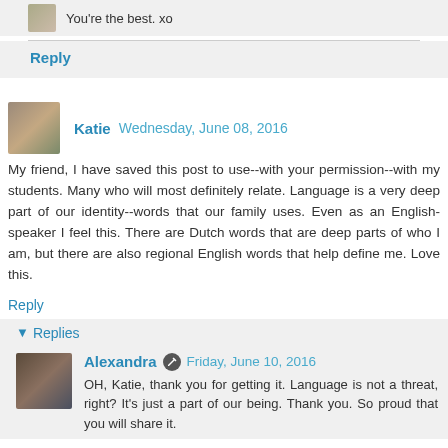You're the best. xo
Reply
Katie  Wednesday, June 08, 2016
My friend, I have saved this post to use--with your permission--with my students. Many who will most definitely relate. Language is a very deep part of our identity--words that our family uses. Even as an English-speaker I feel this. There are Dutch words that are deep parts of who I am, but there are also regional English words that help define me. Love this.
Reply
Replies
Alexandra  Friday, June 10, 2016
OH, Katie, thank you for getting it. Language is not a threat, right? It's just a part of our being. Thank you. So proud that you will share it.